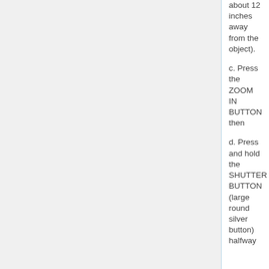about 12 inches away from the object).
c. Press the ZOOM IN BUTTON then
d. Press and hold the SHUTTER BUTTON (large round silver button) halfway